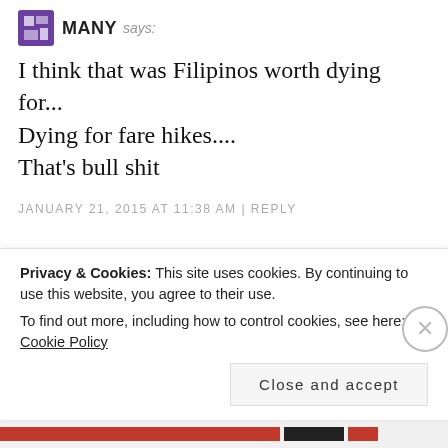[Figure (illustration): Small purple/dark user avatar icon next to username MANY says:]
I think that was Filipinos worth dying for...
Dying for fare hikes....
That's bull shit
JANUARY 21, 2015 AT 11:38 AM | REPLY
What do you think?
Your email address will not be published. Required fields are marked *
Privacy & Cookies: This site uses cookies. By continuing to use this website, you agree to their use.
To find out more, including how to control cookies, see here: Cookie Policy
Close and accept